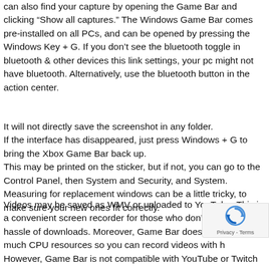can also find your capture by opening the Game Bar and clicking “Show all captures.” The Windows Game Bar comes pre-installed on all PCs, and can be opened by pressing the Windows Key + G. If you don’t see the bluetooth toggle in bluetooth & other devices this link settings, your pc might not have bluetooth. Alternatively, use the bluetooth button in the action center.
It will not directly save the screenshot in any folder.
If the interface has disappeared, just press Windows + G to bring the Xbox Game Bar back up.
This may be printed on the sticker, but if not, you can go to the Control Panel, then System and Security, and System.
Measuring for replacement windows can be a little tricky, to make sure your new ones fit correctly.
Videos may be saved as WMV or uploaded to YouTube. This is a convenient screen recorder for those who don’t want the hassle of downloads. Moreover, Game Bar doesn’t consume much CPU resources so you can record videos with high. However, Game Bar is not compatible with YouTube or Twitch